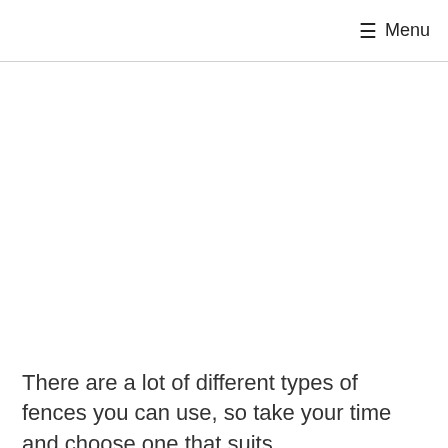☰ Menu
[Figure (other): Blank white content area, likely where an image or advertisement was placed]
There are a lot of different types of fences you can use, so take your time and choose one that suits